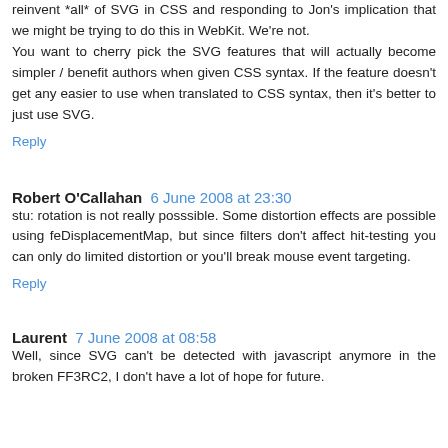reinvent *all* of SVG in CSS and responding to Jon's implication that we might be trying to do this in WebKit. We're not.
You want to cherry pick the SVG features that will actually become simpler / benefit authors when given CSS syntax. If the feature doesn't get any easier to use when translated to CSS syntax, then it's better to just use SVG.
Reply
Robert O'Callahan  6 June 2008 at 23:30
stu: rotation is not really posssible. Some distortion effects are possible using feDisplacementMap, but since filters don't affect hit-testing you can only do limited distortion or you'll break mouse event targeting.
Reply
Laurent  7 June 2008 at 08:58
Well, since SVG can't be detected with javascript anymore in the broken FF3RC2, I don't have a lot of hope for future.